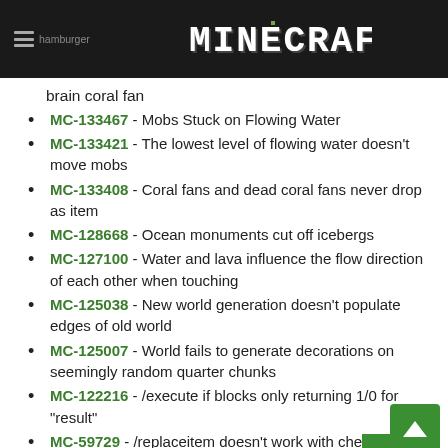hamburger | MINECRAFT
brain coral fan
MC-133467 - Mobs Stuck on Flowing Water
MC-133421 - The lowest level of flowing water doesn't move mobs
MC-133408 - Coral fans and dead coral fans never drop as item
MC-128668 - Ocean monuments cut off icebergs
MC-127100 - Water and lava influence the flow direction of each other when touching
MC-125038 - New world generation doesn't populate edges of old world
MC-125007 - World fails to generate decorations on seemingly random quarter chunks
MC-122216 - /execute if blocks only returning 1/0 for "result"
MC-59729 - /replaceitem doesn't work with chest or